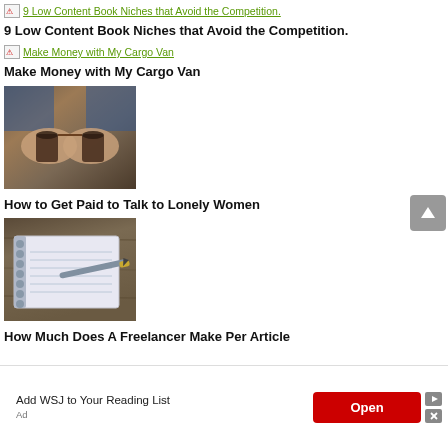[Figure (screenshot): Broken image placeholder with green link text: '9 Low Content Book Niches that Avoid the Competition.']
9 Low Content Book Niches that Avoid the Competition.
[Figure (screenshot): Broken image placeholder with green link text: 'Make Money with My Cargo Van']
Make Money with My Cargo Van
[Figure (photo): Two people holding coffee cups together outdoors, hands visible, jeans worn, natural light setting.]
How to Get Paid to Talk to Lonely Women
[Figure (photo): A spiral notebook with a pen resting on top, placed on a wooden surface.]
How Much Does A Freelancer Make Per Article
[Figure (screenshot): Advertisement banner: 'Add WSJ to Your Reading List' with a red Open button and ad icons.]